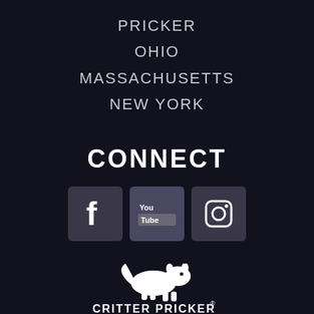PRICKER
OHIO
MASSACHUSETTS
NEW YORK
CONNECT
[Figure (infographic): Three social media icon buttons: Facebook (f), YouTube (You Tube), and Instagram (camera icon), each in a dark rounded square.]
[Figure (logo): Critter Pricker logo: white silhouette of a critter/animal above text 'CRITTER PRICKER' with registered trademark symbol.]